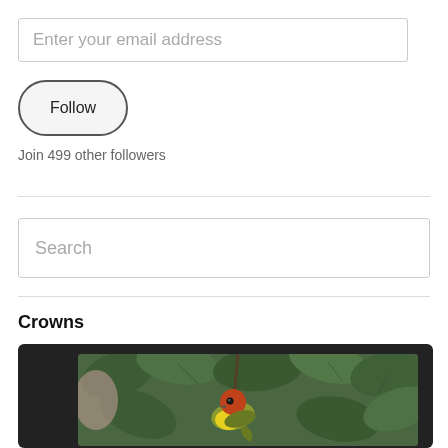Enter your email address
Follow
Join 499 other followers
Search
Crowns
[Figure (photo): A small bird with a red-orange crown and yellow chest perched among green leaves, displayed inside a dark-framed screen or monitor graphic.]